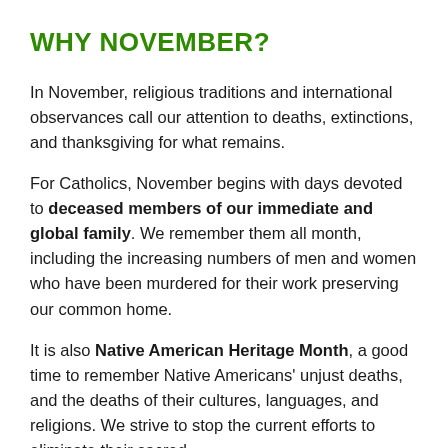WHY NOVEMBER?
In November, religious traditions and international observances call our attention to deaths, extinctions, and thanksgiving for what remains.
For Catholics, November begins with days devoted to deceased members of our immediate and global family. We remember them all month, including the increasing numbers of men and women who have been murdered for their work preserving our common home.
It is also Native American Heritage Month, a good time to remember Native Americans' unjust deaths, and the deaths of their cultures, languages, and religions. We strive to stop the current efforts to eliminate their sacred